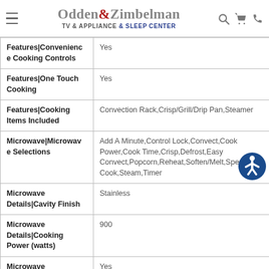Odden&Zimbelman TV & APPLIANCE & SLEEP CENTER
| Feature | Value |
| --- | --- |
| Features|Convenience Cooking Controls | Yes |
| Features|One Touch Cooking | Yes |
| Features|Cooking Items Included | Convection Rack,Crisp/Grill/Drip Pan,Steamer |
| Microwave|Microwave Selections | Add A Minute,Control Lock,Convect,Cook Power,Cook Time,Crisp,Defrost,Easy Convect,Popcorn,Reheat,Soften/Melt,Speed Cook,Steam,Timer |
| Microwave Details|Cavity Finish | Stainless |
| Microwave Details|Cooking Power (watts) | 900 |
| Microwave | Yes |